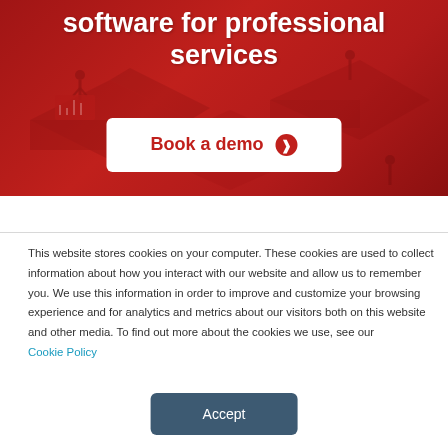[Figure (illustration): Red hero banner with isometric business software illustration showing people working with digital platforms and devices]
software for professional services
Book a demo ❯
This website stores cookies on your computer. These cookies are used to collect information about how you interact with our website and allow us to remember you. We use this information in order to improve and customize your browsing experience and for analytics and metrics about our visitors both on this website and other media. To find out more about the cookies we use, see our Cookie Policy
Accept